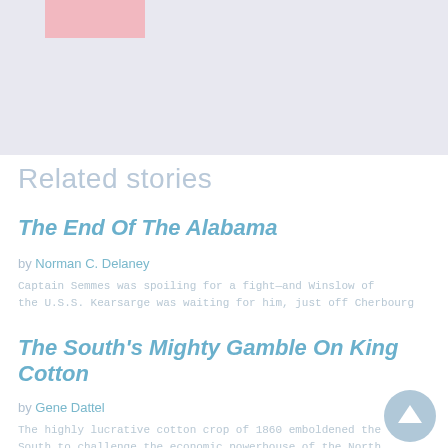[Figure (illustration): Top image area with a pink rectangular block, likely a partial thumbnail or banner image placeholder with light blue-grey background]
Related stories
The End Of The Alabama
by Norman C. Delaney
Captain Semmes was spoiling for a fight—and Winslow of the U.S.S. Kearsarge was waiting for him, just off Cherbourg
The South's Mighty Gamble On King Cotton
by Gene Dattel
The highly lucrative cotton crop of 1860 emboldened the South to challenge the economic powerhouse of the North